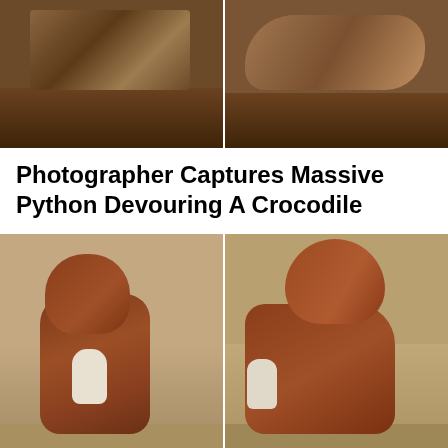[Figure (photo): Two side-by-side photos of a python devouring a crocodile in an outdoor earthy setting]
Photographer Captures Massive Python Devouring A Crocodile
[Figure (photo): Two side-by-side photos of a stocky brown pit bull dog outdoors on dry ground]
Pit Bull Has Puppies With A